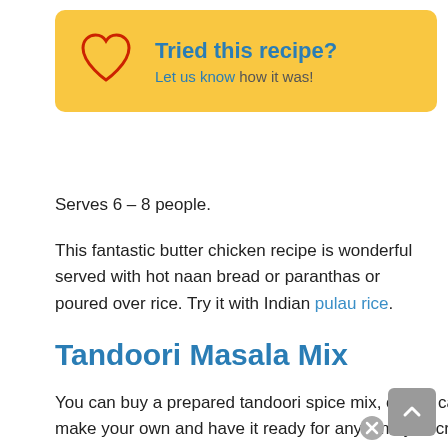[Figure (other): Yellow rounded rectangle box with a red heart outline icon on the left and text 'Tried this recipe? Let us know how it was!' on the right in blue.]
Serves 6 – 8 people.
This fantastic butter chicken recipe is wonderful served with hot naan bread or paranthas or poured over rice. Try it with Indian pulau rice.
Tandoori Masala Mix
You can buy a prepared tandoori spice mix, or you can use this recipe to put together your own version. If you love Indian food, make your own and have it ready for any time you crave that unique savory flavor of Indian. You can adjust the seasonings to get the exact flavor you